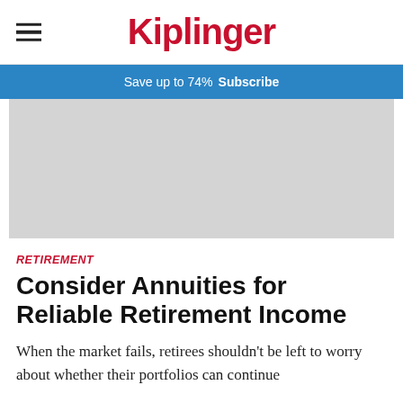Kiplinger
Save up to 74%  Subscribe
[Figure (photo): Gray placeholder image for article header photo]
RETIREMENT
Consider Annuities for Reliable Retirement Income
When the market fails, retirees shouldn't be left to worry about whether their portfolios can continue